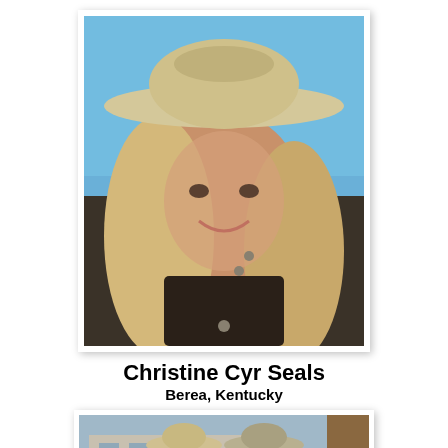[Figure (photo): Close-up selfie photo of a woman with long blonde hair wearing a tan cowboy hat and dark jacket, outdoors against a blue sky background.]
Christine Cyr Seals
Berea, Kentucky
[Figure (photo): Photo of two women wearing cowboy hats standing outdoors near a wooden post with a building in the background.]